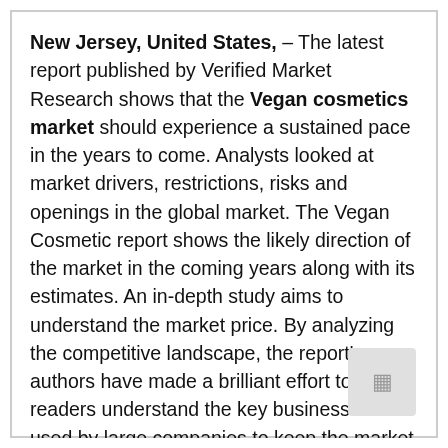New Jersey, United States, – The latest report published by Verified Market Research shows that the Vegan cosmetics market should experience a sustained pace in the years to come. Analysts looked at market drivers, restrictions, risks and openings in the global market. The Vegan Cosmetic report shows the likely direction of the market in the coming years along with its estimates. An in-depth study aims to understand the market price. By analyzing the competitive landscape, the report's authors have made a brilliant effort to help readers understand the key business tactics used by large companies to keep the market sustainable.
The report includes the profiling of almost all of significant players in the vegan cosmetics market.